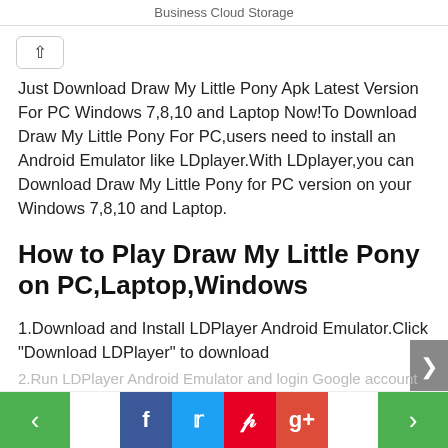Business Cloud Storage
Just Download Draw My Little Pony Apk Latest Version For PC Windows 7,8,10 and Laptop Now!To Download Draw My Little Pony For PC,users need to install an Android Emulator like LDplayer.With LDplayer,you can Download Draw My Little Pony for PC version on your Windows 7,8,10 and Laptop.
How to Play Draw My Little Pony on PC,Laptop,Windows
1.Download and Install LDPlayer Android Emulator.Click "Download LDPlayer" to download
2.Run LDPlayer Android Emulator and login Google account